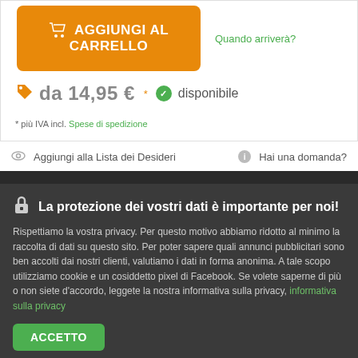[Figure (screenshot): Orange 'Aggiungi al Carrello' (Add to Cart) button with shopping cart icon]
Quando arriverà?
da 14,95 € * ✓ disponibile
* più IVA incl. Spese di spedizione
Aggiungi alla Lista dei Desideri  Hai una domanda?
DESCRIZIONE: GAME OF THRONES COINS
La protezione dei vostri dati è importante per noi!
Rispettiamo la vostra privacy. Per questo motivo abbiamo ridotto al minimo la raccolta di dati su questo sito. Per poter sapere quali annunci pubblicitari sono ben accolti dai nostri clienti, valutiamo i dati in forma anonima. A tale scopo utilizziamo cookie e un cosiddetto pixel di Facebook. Se volete saperne di più o non siete d'accordo, leggete la nostra informativa sulla privacy, informativa sulla privacy
ACCETTO